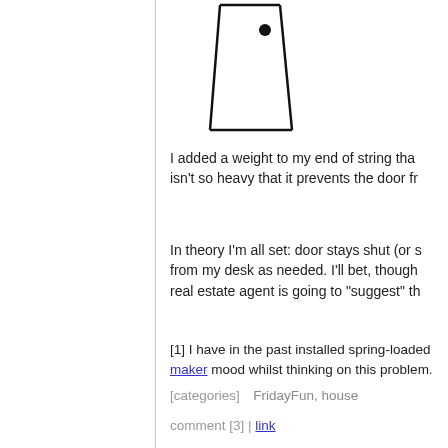[Figure (illustration): Simple line drawing of a door (viewed straight on) with a small black dot representing a doorknob, drawn in a minimalist/sketch style with black lines on white background.]
I added a weight to my end of string tha... isn't so heavy that it prevents the door fr...
In theory I'm all set: door stays shut (or s... from my desk as needed. I'll bet, though... real estate agent is going to "suggest" th...
[1] I have in the past installed spring-loaded... maker mood whilst thinking on this problem.
[categories]  FridayFun, house
comment [3] | link